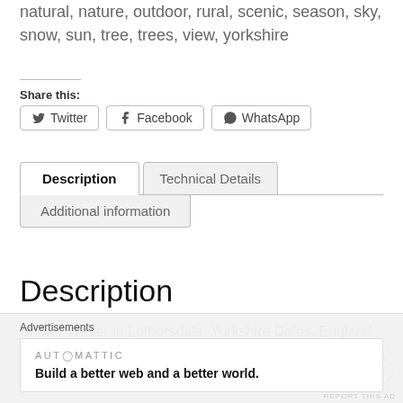natural, nature, outdoor, rural, scenic, season, sky, snow, sun, tree, trees, view, yorkshire
Share this:
Twitter
Facebook
WhatsApp
Description
Technical Details
Additional information
Description
Snowy Winter in Lothersdale, Yorkshire Dales, England
Like this:
Advertisements
AUTOMATTIC
Build a better web and a better world.
REPORT THIS AD